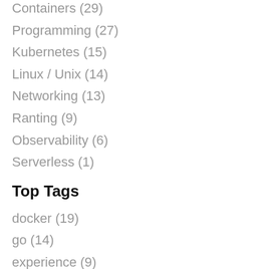Containers (29)
Programming (27)
Kubernetes (15)
Linux / Unix (14)
Networking (13)
Ranting (9)
Observability (6)
Serverless (1)
Top Tags
docker (19)
go (14)
experience (9)
container-runtime (9)